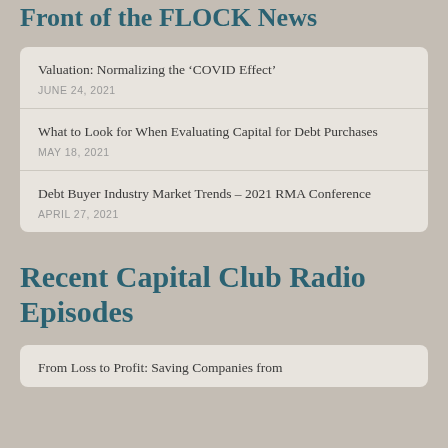Front of the FLOCK News
Valuation: Normalizing the ‘COVID Effect’ | JUNE 24, 2021
What to Look for When Evaluating Capital for Debt Purchases | MAY 18, 2021
Debt Buyer Industry Market Trends – 2021 RMA Conference | APRIL 27, 2021
Recent Capital Club Radio Episodes
From Loss to Profit: Saving Companies from